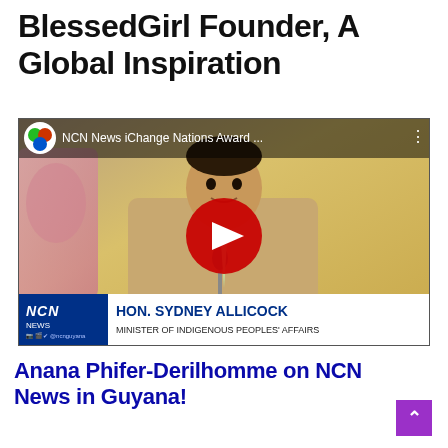BlessedGirl Founder, A Global Inspiration
[Figure (screenshot): YouTube video thumbnail showing NCN News iChange Nations Award video. A man in a tan suit (HON. SYDNEY ALLICOCK, Minister of Indigenous Peoples' Affairs) speaking at a podium. A red YouTube play button is overlaid in the center. The top bar shows the NCN News logo and video title. The bottom bar shows a lower-third graphic with NCN News branding and the speaker's name and title.]
Anana Phifer-Derilhomme on NCN News in Guyana!